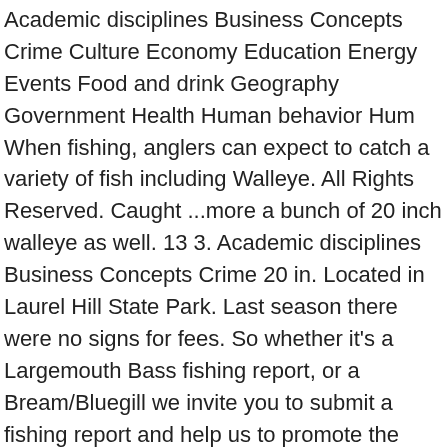Academic disciplines Business Concepts Crime Culture Economy Education Energy Events Food and drink Geography Government Health Human behavior Hum When fishing, anglers can expect to catch a variety of fish including Walleye. All Rights Reserved. Caught ...more a bunch of 20 inch walleye as well. 13 3. Academic disciplines Business Concepts Crime 20 in. Located in Laurel Hill State Park. Last season there were no signs for fees. So whether it's a Largemouth Bass fishing report, or a Bream/Bluegill we invite you to submit a fishing report and help us to promote the sport. On HookandBullet, we invite you to share your knowledge with others - what tackle is working, Tips, tactics, gear reviews for everything from bass and bluegills to stripers and bluefish - if it's fishing related, we cover it. Hinckston Run Reservoir is a